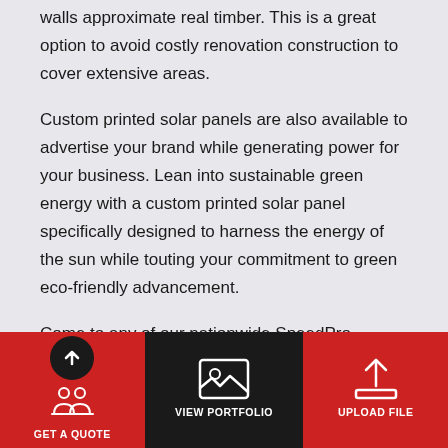walls approximate real timber. This is a great option to avoid costly renovation construction to cover extensive areas.
Custom printed solar panels are also available to advertise your brand while generating power for your business. Lean into sustainable green energy with a custom printed solar panel specifically designed to harness the energy of the sun while touting your commitment to green eco-friendly advancement.
Come to any of our nationwide SpeedPro studios to check out our full catalog of custom panel options designed for a wide variety of functions.
GET A QUOTE | VIEW PORTFOLIO | UPLOAD FILE